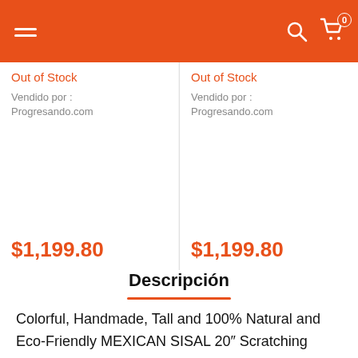Navigation header with hamburger menu, search icon, and cart icon with badge 0
Out of Stock
Vendido por :
Progresando.com
$1,199.80
Out of Stock
Vendido por :
Progresando.com
$1,199.80
Descripción
Colorful, Handmade, Tall and 100% Natural and Eco-Friendly MEXICAN SISAL 20″ Scratching Post. Our Post and Interactive Toy are infused with Catnip for a long lasting fun.
English >